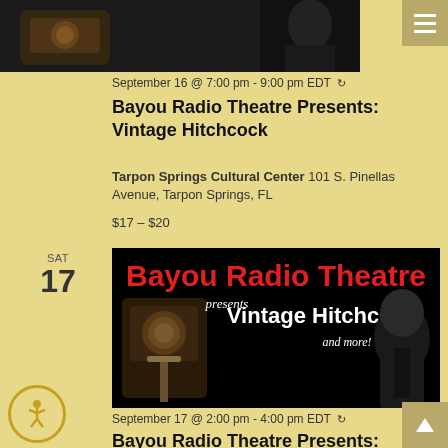[Figure (photo): Top cropped promotional photo showing vintage radio and Alfred Hitchcock silhouette, partially visible]
September 16 @ 7:00 pm - 9:00 pm EDT ↺
Bayou Radio Theatre Presents: Vintage Hitchcock
Tarpon Springs Cultural Center 101 S. Pinellas Avenue, Tarpon Springs, FL
$17 – $20
SAT
17
[Figure (photo): Promotional banner image with black background showing 'Bayou Radio Theatre presents Vintage Hitchcock and more!' in red and white text, with vintage radio microphone and Alfred Hitchcock silhouette]
September 17 @ 2:00 pm - 4:00 pm EDT ↺
Bayou Radio Theatre Presents: Vintage Hitchcock